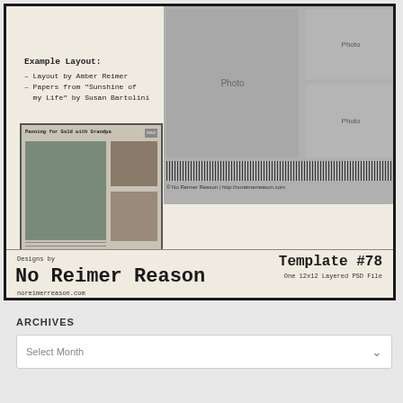[Figure (illustration): Product card for 'No Reimer Reason' digital scrapbook Template #78. Shows example layout on left with scrapbook preview, template placeholder on right with photo boxes, barcode, and copyright. Bottom bar shows brand name and template info.]
Example Layout:
– Layout by Amber Reimer
– Papers from "Sunshine of my Life" by Susan Bartolini
Designs by
No Reimer Reason
noreimerreason.com
Template #78
One 12x12 Layered PSD File
© No Reimer Reason | http://noreimerreason.com
ARCHIVES
Select Month